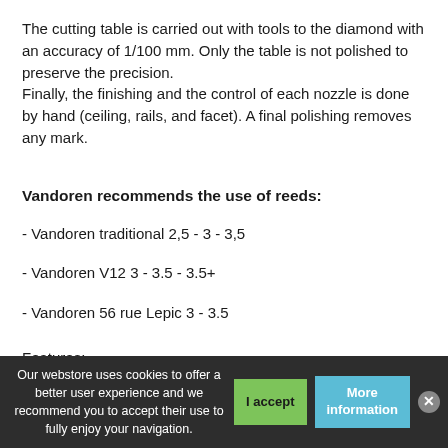The cutting table is carried out with tools to the diamond with an accuracy of 1/100 mm. Only the table is not polished to preserve the precision.
Finally, the finishing and the control of each nozzle is done by hand (ceiling, rails, and facet). A final polishing removes any mark.
Vandoren recommends the use of reeds:
- Vandoren traditional 2,5 - 3 - 3,5
- Vandoren V12 3 - 3.5 - 3.5+
- Vandoren 56 rue Lepic 3 - 3.5
Features:
Our webstore uses cookies to offer a better user experience and we recommend you to accept their use to fully enjoy your navigation.